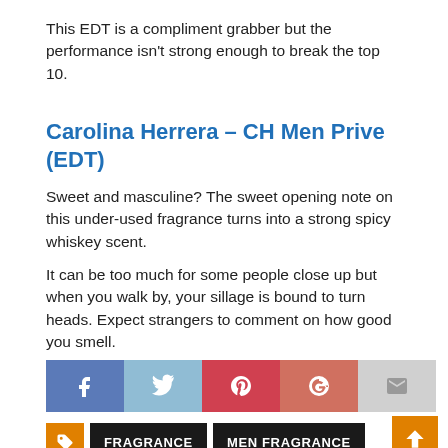This EDT is a compliment grabber but the performance isn't strong enough to break the top 10.
Carolina Herrera – CH Men Prive (EDT)
Sweet and masculine? The sweet opening note on this under-used fragrance turns into a strong spicy whiskey scent.
It can be too much for some people close up but when you walk by, your sillage is bound to turn heads. Expect strangers to comment on how good you smell.
[Figure (infographic): Social share buttons: Facebook, Twitter, Pinterest, Google+, Email]
FRAGRANCE
MEN FRAGRANCE